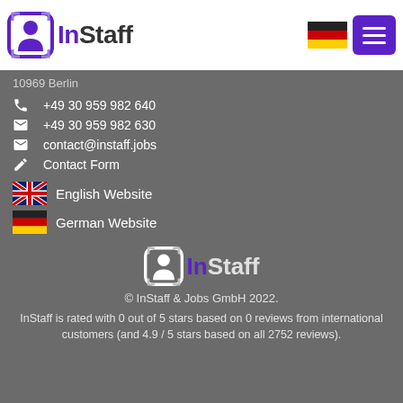[Figure (logo): InStaff logo with icon in header bar]
[Figure (logo): German flag and menu button in header]
10969 Berlin
+49 30 959 982 640
+49 30 959 982 630
contact@instaff.jobs
Contact Form
English Website
German Website
[Figure (logo): InStaff logo centered in footer area]
© InStaff & Jobs GmbH 2022.
InStaff is rated with 0 out of 5 stars based on 0 reviews from international customers (and 4.9 / 5 stars based on all 2752 reviews).